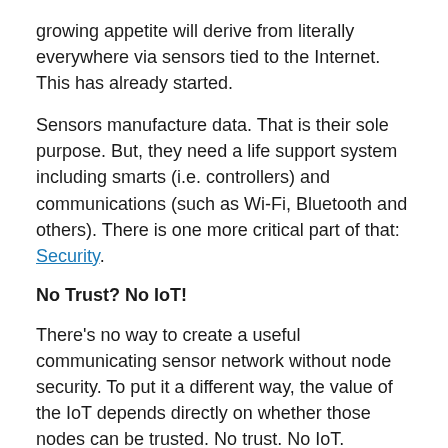growing appetite will derive from literally everywhere via sensors tied to the Internet. This has already started.
Sensors manufacture data. That is their sole purpose. But, they need a life support system including smarts (i.e. controllers) and communications (such as Wi-Fi, Bluetooth and others). There is one more critical part of that: Security.
No Trust? No IoT!
There's no way to create a useful communicating sensor network without node security. To put it a different way, the value of the IoT depends directly on whether those nodes can be trusted. No trust. No IoT.  Without security, the Internet of Things is just a toy.
What exactly is security? It can best be defined by using the three-pillar model, which (ironically) can be referred to as "C.I.A:" Confidentiality, Integrity and Authenticity.